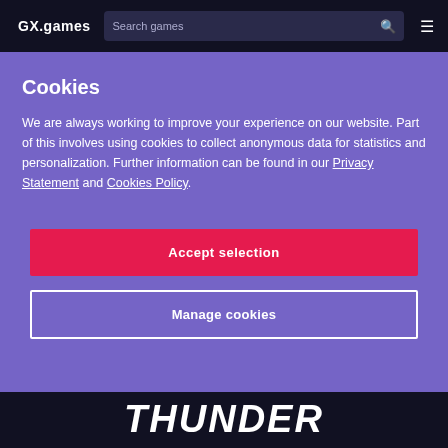GX.games
Cookies
We are always working to improve your experience on our website. Part of this involves using cookies to collect anonymous data for statistics and personalization. Further information can be found in our Privacy Statement and Cookies Policy.
Accept selection
Manage cookies
[Figure (screenshot): THUNDER text banner at the bottom of the page in dark background]